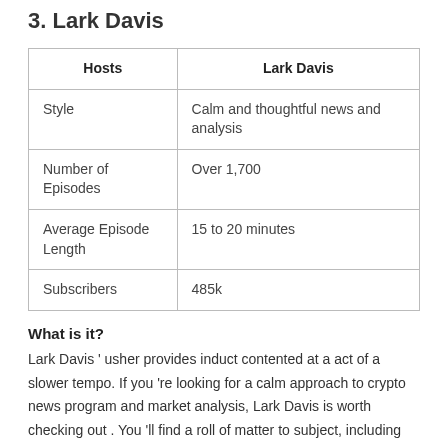3. Lark Davis
| Hosts | Lark Davis |
| --- | --- |
| Style | Calm and thoughtful news and analysis |
| Number of Episodes | Over 1,700 |
| Average Episode Length | 15 to 20 minutes |
| Subscribers | 485k |
What is it?
Lark Davis ' usher provides induct contented at a act of a slower tempo. If you 're looking for a calm approach to crypto news program and market analysis, Lark Davis is worth checking out . You 'll find a roll of matter to subject, including breakdowns of